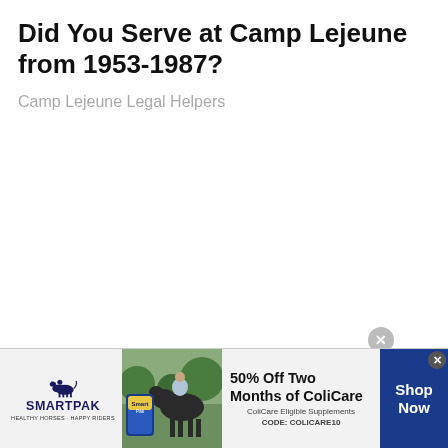Did You Serve at Camp Lejeune from 1953-1987?
Camp Lejeune Legal Helpers
[Figure (screenshot): Advertisement banner for SmartPak featuring a horse and rider image, product bag, and offer text '50% Off Two Months of ColiCare' with code 'COLICARE10' and a blue 'Shop Now' button]